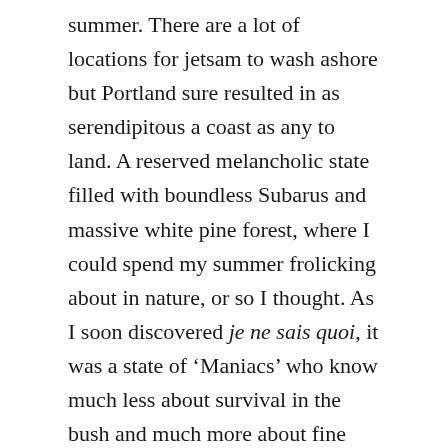summer. There are a lot of locations for jetsam to wash ashore but Portland sure resulted in as serendipitous a coast as any to land. A reserved melancholic state filled with boundless Subarus and massive white pine forest, where I could spend my summer frolicking about in nature, or so I thought. As I soon discovered je ne sais quoi, it was a state of ‘Maniacs’ who know much less about survival in the bush and much more about fine cuisine and craft beers. I was in the right place; there are no mistakes in life.
More on Maine in a minute, but first an update on the wags from Queens, NYC: Bart and his pious compatriots in Pennsylvania (owners of the Hilton Garden Inn at JFK, NYC) provided round two of